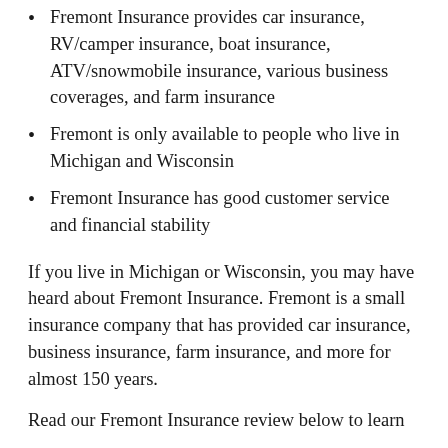Fremont Insurance provides car insurance, RV/camper insurance, boat insurance, ATV/snowmobile insurance, various business coverages, and farm insurance
Fremont is only available to people who live in Michigan and Wisconsin
Fremont Insurance has good customer service and financial stability
If you live in Michigan or Wisconsin, you may have heard about Fremont Insurance. Fremont is a small insurance company that has provided car insurance, business insurance, farm insurance, and more for almost 150 years.
Read our Fremont Insurance review below to learn